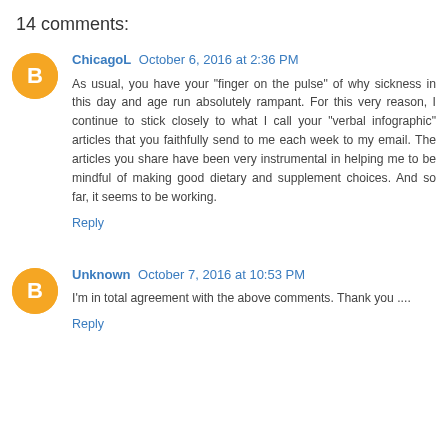14 comments:
ChicagoL October 6, 2016 at 2:36 PM
As usual, you have your "finger on the pulse" of why sickness in this day and age run absolutely rampant. For this very reason, I continue to stick closely to what I call your "verbal infographic" articles that you faithfully send to me each week to my email. The articles you share have been very instrumental in helping me to be mindful of making good dietary and supplement choices. And so far, it seems to be working.
Reply
Unknown October 7, 2016 at 10:53 PM
I'm in total agreement with the above comments. Thank you ....
Reply